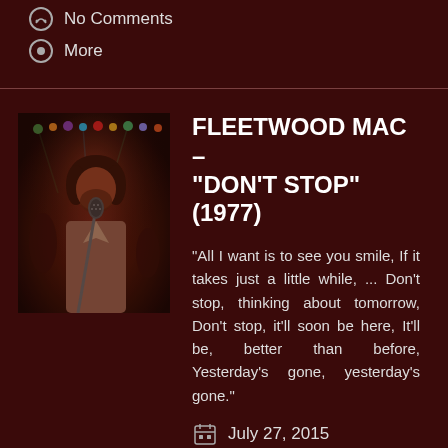No Comments
More
[Figure (photo): Musician performing on stage with microphone, stage lights visible in background, concert setting]
FLEETWOOD MAC – "DON'T STOP" (1977)
"All I want is to see you smile, If it takes just a little while, ... Don't stop, thinking about tomorrow, Don't stop, it'll soon be here, It'll be, better than before, Yesterday's gone, yesterday's gone."
July 27, 2015
No Comments
More